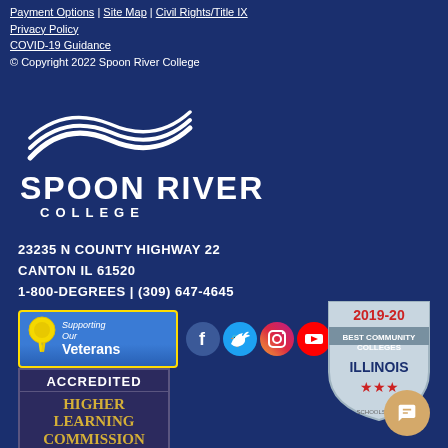Payment Options | Site Map | Civil Rights/Title IX
Privacy Policy
COVID-19 Guidance
© Copyright 2022 Spoon River College
[Figure (logo): Spoon River College logo with white wave design and text SPOON RIVER COLLEGE]
23235 N COUNTY HIGHWAY 22
CANTON IL 61520
1-800-DEGREES | (309) 647-4645
[Figure (illustration): Supporting Our Veterans badge with yellow ribbon]
[Figure (illustration): Social media icons: Facebook, Twitter, Instagram, YouTube]
[Figure (illustration): 2019-20 Best Community Colleges Illinois badge from schools.com]
[Figure (illustration): Accredited Higher Learning Commission badge]